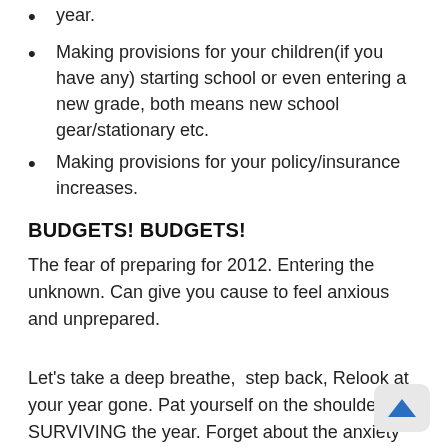year.
Making provisions for your children(if you have any) starting school or even entering a new grade, both means new school gear/stationary etc.
Making provisions for your policy/insurance increases.
BUDGETS! BUDGETS!
The fear of preparing for 2012. Entering the unknown. Can give you cause to feel anxious and unprepared.
Let’s take a deep breathe,  step back, Relook at your year gone. Pat yourself on the shoulder for SURVIVING the year. Forget about the anxiety and expenses and work, lets just FOCUS on some key